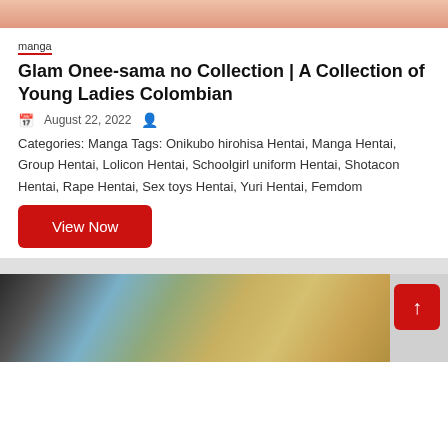[Figure (illustration): Partial manga illustration at top of page, cropped]
manga
Glam Onee-sama no Collection | A Collection of Young Ladies Colombian
August 22, 2022
Categories: Manga Tags: Onikubo hirohisa Hentai, Manga Hentai, Group Hentai, Lolicon Hentai, Schoolgirl uniform Hentai, Shotacon Hentai, Rape Hentai, Sex toys Hentai, Yuri Hentai, Femdom
View Now
[Figure (illustration): Partial manga illustration at the bottom of the page, cropped. Back-to-top arrow button (red) visible in bottom-right corner.]